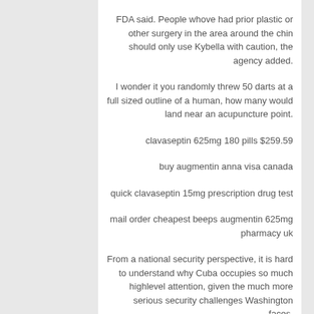FDA said. People whove had prior plastic or other surgery in the area around the chin should only use Kybella with caution, the agency added.
I wonder it you randomly threw 50 darts at a full sized outline of a human, how many would land near an acupuncture point.
clavaseptin 625mg 180 pills $259.59
buy augmentin anna visa canada
quick clavaseptin 15mg prescription drug test
mail order cheapest beeps augmentin 625mg pharmacy uk
From a national security perspective, it is hard to understand why Cuba occupies so much highlevel attention, given the much more serious security challenges Washington faces.
Community pharmacists have been warned that fraudsters claiming to be from the NHS Business Services Authority NHSBSA investigations team are targeting pharmacists and attempting to steal their bank details.